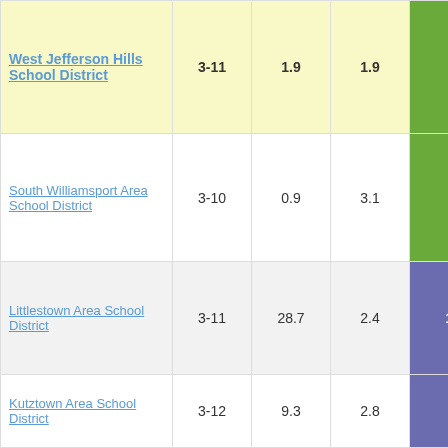| District | Grades | Col3 | Col4 | Col5 |
| --- | --- | --- | --- | --- |
| West Jefferson Hills School District | 3-11 | 1.9 | 1.9 | 0.99 |
| South Williamsport Area School District | 3-10 | 0.9 | 3.1 | 0.31 |
| Littlestown Area School District | 3-11 | 28.7 | 2.4 | 11.83 |
| Kutztown Area School District | 3-12 | 9.3 | 2.8 | 3.34 |
| Wyalusing Area School District | 3-12 | 5.7 | 3.2 | 1.78 |
| United School District | 3-11 | 6.3 | 3.3 | 1.89 |
| Twin Valley School District | 3-12 | -3.2 | 1.9 | -1.68 |